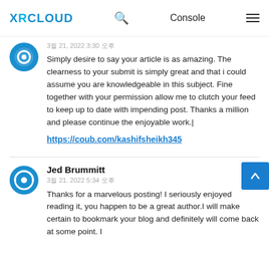XRCLOUD | Console
Simply desire to say your article is as amazing. The clearness to your submit is simply great and that i could assume you are knowledgeable in this subject. Fine together with your permission allow me to clutch your feed to keep up to date with impending post. Thanks a million and please continue the enjoyable work.|
https://coub.com/kashifsheikh345
Jed Brummitt
3월 21. 2022 5:34 오후
Thanks for a marvelous posting! I seriously enjoyed reading it, you happen to be a great author.I will make certain to bookmark your blog and definitely will come back at some point. I